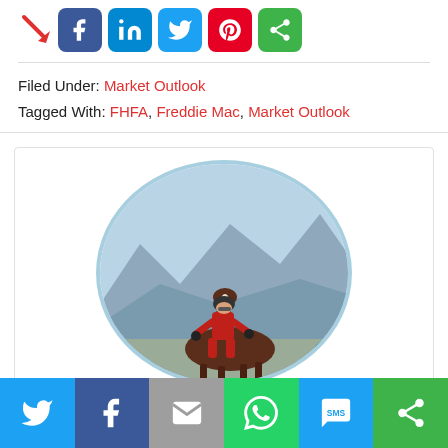[Figure (infographic): Social media share buttons: Facebook, LinkedIn, Twitter, Pinterest, and a green share icon, with a red arrow pointing at them]
Filed Under: Market Outlook
Tagged With: FHFA, Freddie Mac, Market Outlook
[Figure (photo): Circular profile photo of a person wearing a red outfit and helmet riding a brown and white horse against a mountain landscape background]
[Figure (infographic): Bottom share bar with icons: Twitter (blue), Facebook (dark blue), Email (gray), WhatsApp (green), SMS (blue), and a green share icon]